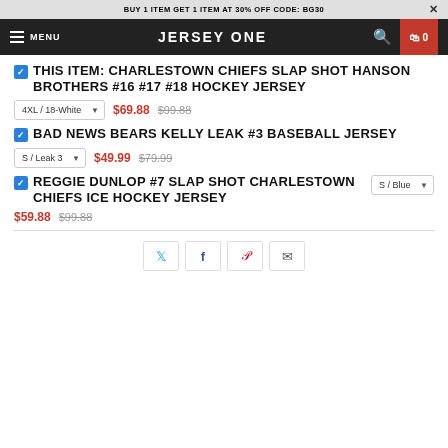BUY 1 ITEM GET 1 ITEM AT 30% OFF CODE: BG30
JERSEY ONE
THIS ITEM: CHARLESTOWN CHIEFS SLAP SHOT HANSON BROTHERS #16 #17 #18 HOCKEY JERSEY — 4XL / 18-White — $69.88 $99.88
BAD NEWS BEARS KELLY LEAK #3 BASEBALL JERSEY — S / Leak 3 — $49.99 $79.99
REGGIE DUNLOP #7 SLAP SHOT CHARLESTOWN CHIEFS ICE HOCKEY JERSEY — S / Blue — $59.88 $99.88